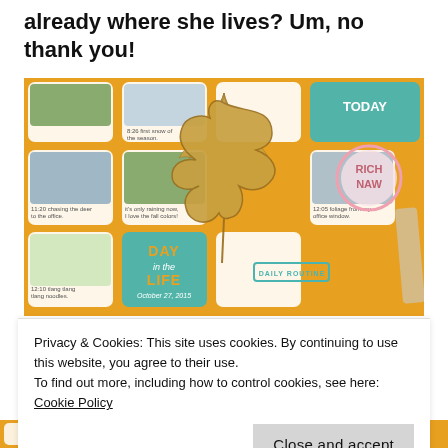already where she lives? Um, no thank you!
[Figure (photo): A scrapbook-style photo collage with an orange/yellow grid background, featuring multiple small photos of outdoor scenes including trees, a lake, and foliage, overlaid with a large dried maple leaf, decorative stickers, and text elements reading 'DAY in the LIFE', 'Daily Routine', 'TODAY', 'October 27, 2015', with various timestamps (8:26, 11:20, 12:05, 12:10) and handwritten captions.]
Privacy & Cookies: This site uses cookies. By continuing to use this website, you agree to their use.
To find out more, including how to control cookies, see here: Cookie Policy